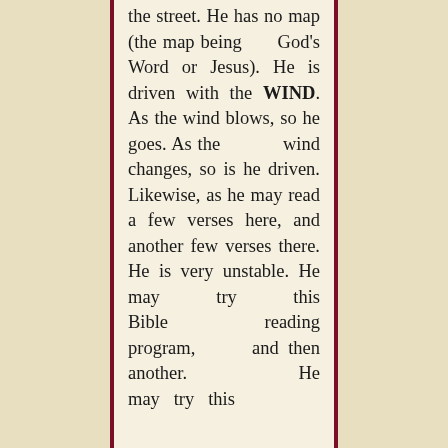the street. He has no map (the map being God's Word or Jesus). He is driven with the WIND. As the wind blows, so he goes. As the wind changes, so is he driven. Likewise, as he may read a few verses here, and another few verses there. He is very unstable. He may try this Bible reading program, and then another. He may try this church and the...